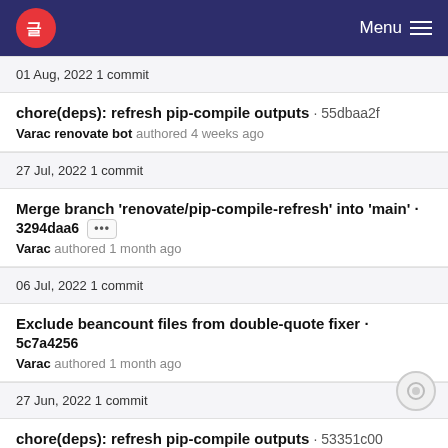Menu
01 Aug, 2022 1 commit
chore(deps): refresh pip-compile outputs · 55dbaa2f
Varac renovate bot authored 4 weeks ago
27 Jul, 2022 1 commit
Merge branch 'renovate/pip-compile-refresh' into 'main' · 3294daa6 ···
Varac authored 1 month ago
06 Jul, 2022 1 commit
Exclude beancount files from double-quote fixer · 5c7a4256
Varac authored 1 month ago
27 Jun, 2022 1 commit
chore(deps): refresh pip-compile outputs · 53351c00
Varac renovate bot authored 2 months ago